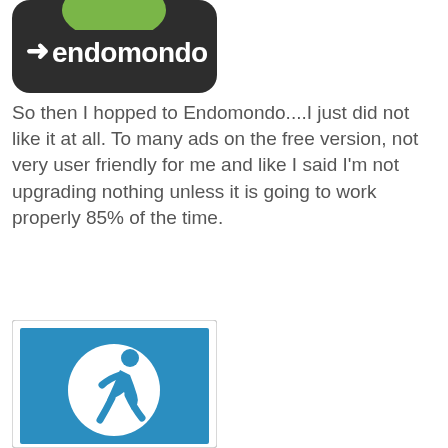[Figure (logo): Endomondo app logo — dark rounded rectangle background with green arc at top and white 'endomondo' text with arrow icon]
So then I hopped to Endomondo....I just did not like it at all. To many ads on the free version, not very user friendly for me and like I said I'm not upgrading nothing unless it is going to work properly 85% of the time.
[Figure (logo): Running app logo — white border frame with blue square background containing a white circle and a blue running person icon]